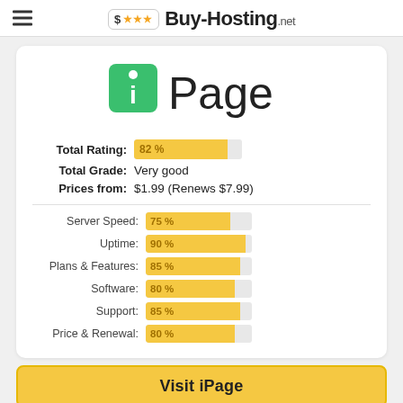Buy-Hosting.net
[Figure (logo): iPage logo - green tag icon with white 'i' and 'Page' text]
Total Rating: 82%
Total Grade: Very good
Prices from: $1.99 (Renews $7.99)
Server Speed: 75%
Uptime: 90%
Plans & Features: 85%
Software: 80%
Support: 85%
Price & Renewal: 80%
Visit iPage